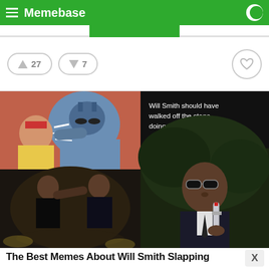Memebase
[Figure (screenshot): Vote interaction row with upvote button showing 27 and downvote button showing 7, plus a favorite heart button on the right]
[Figure (photo): Meme collage: top-left shows Batman slapping Robin comic; bottom-left shows Will Smith slapping Chris Rock at the Oscars; right side shows text 'Will Smith should have walked off the stage doing this:' with a still of Will Smith in Men in Black holding a neuralyzer]
The Best Memes About Will Smith Slapping